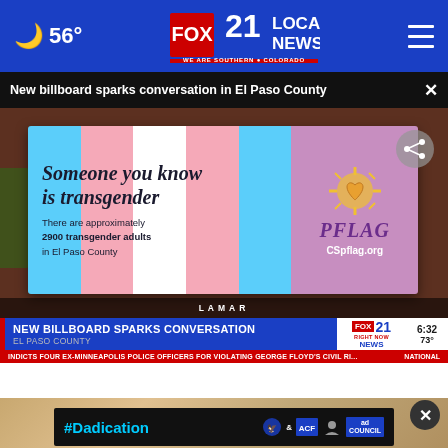56° FOX 21 LOCAL NEWS — WE ARE SOUTHERN COLORADO
New billboard sparks conversation in El Paso County
[Figure (screenshot): News broadcast screenshot showing a PFLAG billboard with transgender flag colors. Billboard reads 'Someone you know is transgender. There are approximately 2900 transgender adults in El Paso County.' with PFLAG logo and CSpflag.org. Lower third reads 'NEW BILLBOARD SPARKS CONVERSATION / EL PASO COUNTY' with FOX 21 branding showing 6:32 and 73°. Ticker reads 'INDICTS FOUR EX-MINNEAPOLIS POLICE OFFICERS FOR VIOLATING GEORGE FLOYD'S CIVIL RI... NATIONAL']
[Figure (screenshot): Partial view of a second video with a #Dadication ad banner overlay featuring HHS, ACF, and Ad Council logos on a dark background. A circular close button (×) is visible.]